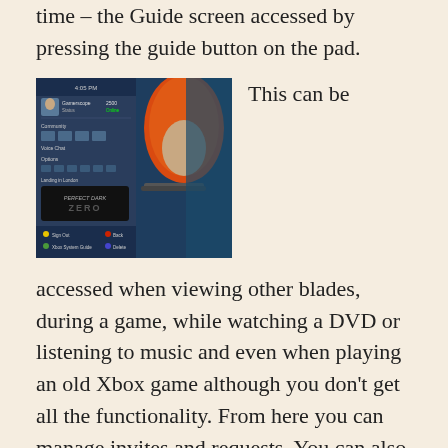time – the Guide screen accessed by pressing the guide button on the pad.
[Figure (screenshot): Xbox 360 Guide screen showing a player profile (Gamerscope, 2500 points, Status: Online), Community section, Voice Chat, Options, and a Perfect Dark Zero game tile. The screen shows Sign Out, Xbox System Guide, Back, and Delete options at the bottom.]
This can be accessed when viewing other blades, during a game, while watching a DVD or listening to music and even when playing an old Xbox game although you don't get all the functionality. From here you can manage invites and requests. You can also send messages – only voice and text at the moment but soon you'll be able to video message too when the video camera becomes available. The